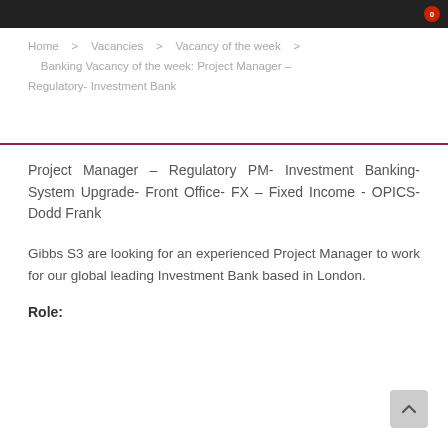Home  >  Vacancies  >  Vacancy of the week  >  Banking Vacancy of the week: Project Manager – Regulatory- Investment Bank
Project Manager – Regulatory PM- Investment Banking- System Upgrade- Front Office- FX – Fixed Income - OPICS- Dodd Frank
Gibbs S3 are looking for an experienced Project Manager to work for our global leading Investment Bank based in London.
Role: